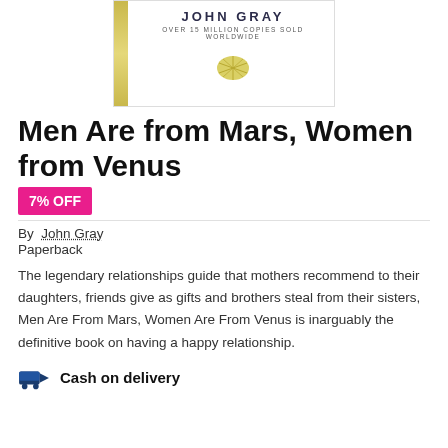[Figure (illustration): Book cover of Men Are from Mars, Women Are from Venus by John Gray, showing gold spine strip, author name in caps, tagline 'OVER 15 MILLION COPIES SOLD WORLDWIDE', and a gold lemon/citrus slice graphic]
Men Are from Mars, Women Are from Venus
7% OFF
By John Gray
Paperback
The legendary relationships guide that mothers recommend to their daughters, friends give as gifts and brothers steal from their sisters, Men Are From Mars, Women Are From Venus is inarguably the definitive book on having a happy relationship.
Cash on delivery